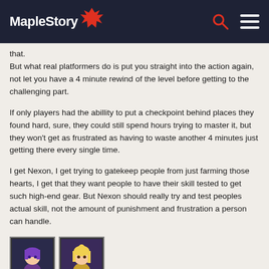MapleStory
that.
But what real platformers do is put you straight into the action again, not let you have a 4 minute rewind of the level before getting to the challenging part.
If only players had the abillity to put a checkpoint behind places they found hard, sure, they could still spend hours trying to master it, but they won't get as frustrated as having to waste another 4 minutes just getting there every single time.
I get Nexon, I get trying to gatekeep people from just farming those hearts, I get that they want people to have their skill tested to get such high-end gear. But Nexon should really try and test peoples actual skill, not the amount of punishment and frustration a person can handle.
[Figure (illustration): Two small character avatar thumbnails from MapleStory game]